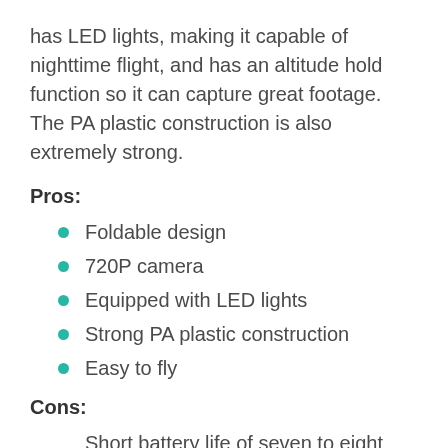has LED lights, making it capable of nighttime flight, and has an altitude hold function so it can capture great footage. The PA plastic construction is also extremely strong.
Pros:
Foldable design
720P camera
Equipped with LED lights
Strong PA plastic construction
Easy to fly
Cons:
Short battery life of seven to eight minutes